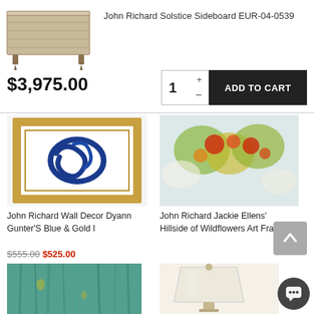[Figure (photo): John Richard Solstice Sideboard product photo - wood sideboard with light brown finish]
John Richard Solstice Sideboard EUR-04-0539
$3,975.00
1 + − ADD TO CART
[Figure (photo): Blue and gold swirl abstract wall art in gold frame]
John Richard Wall Decor Dyann Gunter'S Blue & Gold I
$555.00 $525.00
[Figure (photo): Colorful wildflowers abstract painting art frame]
John Richard Jackie Ellens' Hillside of Wildflowers Art Frame
$1,113.00
[Figure (photo): Teal/green abstract art painting]
[Figure (photo): White table lamp with gold base]